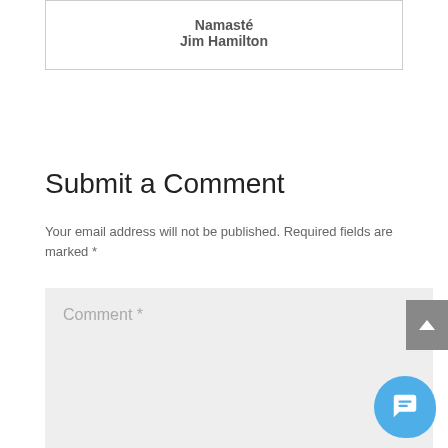Namasté
Jim Hamilton
Submit a Comment
Your email address will not be published. Required fields are marked *
Comment *